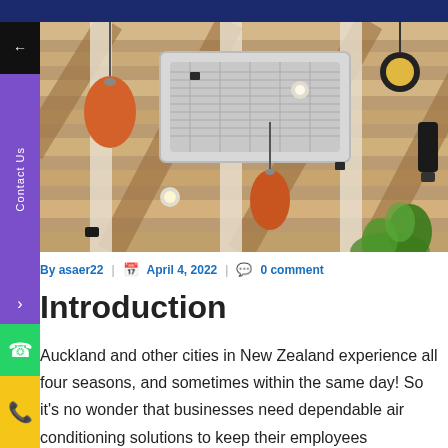[Figure (photo): Interior ceiling photo showing a cassette-type air conditioning unit mounted in a wooden slat ceiling with pendant lights (orange, black cylindrical) and hanging plants]
By asaer22 | April 4, 2022 | 0 comment
Introduction
Auckland and other cities in New Zealand experience all four seasons, and sometimes within the same day! So it's no wonder that businesses need dependable air conditioning solutions to keep their employees comfortable and